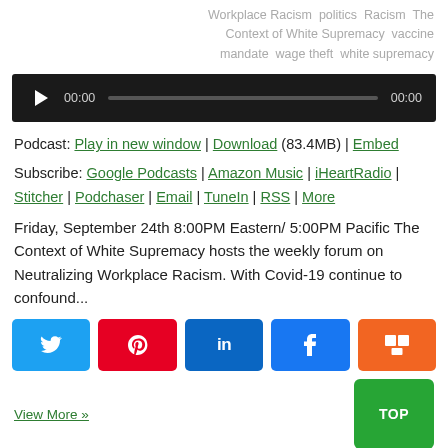Workplace Racism  politics  Racism  The Context of White Supremacy  vaccine mandate  wage theft  white supremacy
[Figure (other): Audio player with play button, time display 00:00, progress bar, and end time 00:00 on dark background]
Podcast: Play in new window | Download (83.4MB) | Embed
Subscribe: Google Podcasts | Amazon Music | iHeartRadio | Stitcher | Podchaser | Email | TuneIn | RSS | More
Friday, September 24th 8:00PM Eastern/ 5:00PM Pacific The Context of White Supremacy hosts the weekly forum on Neutralizing Workplace Racism. With Covid-19 continue to confound...
[Figure (other): Social share buttons: Twitter (blue), Pinterest (red), LinkedIn (dark blue), Facebook (blue), Mix (orange)]
View More »
TOP